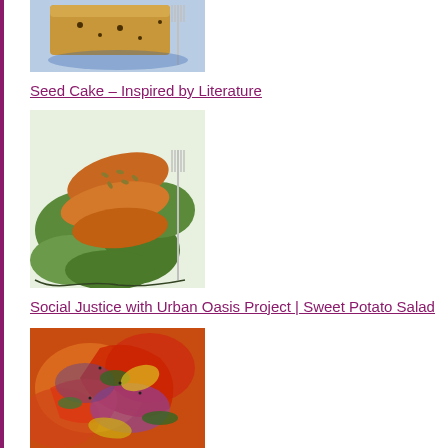[Figure (photo): Photo of a slice of cake on a blue and white plate with a silver fork]
Seed Cake – Inspired by Literature
[Figure (photo): Photo of roasted sweet potato slices on a bed of green leaves with seeds on a decorative plate]
Social Justice with Urban Oasis Project | Sweet Potato Salad
[Figure (photo): Photo of a colorful dish with vegetables including red peppers, onions and greens]